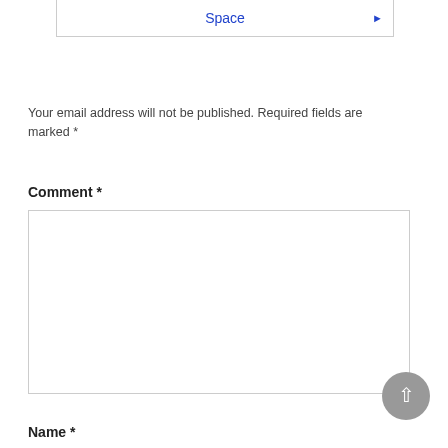[Figure (screenshot): Top portion of a web form showing a box with blue link text 'Space' and a blue right-arrow button on the right side]
Your email address will not be published. Required fields are marked *
Comment *
[Figure (screenshot): Large empty comment textarea input field with light gray border]
Name *